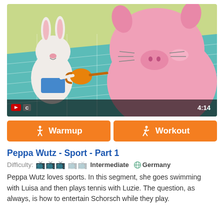[Figure (screenshot): Animated screenshot from Peppa Wutz showing a large pink pig character and a white bunny character with a watering can, in a pool/swimming scene. Video overlay shows YouTube icon, CC badge, and duration 4:14.]
Warmup   Workout
Peppa Wutz - Sport - Part 1
Difficulty: 🦔🦔🦔 Intermediate  Germany
Peppa Wutz loves sports. In this segment, she goes swimming with Luisa and then plays tennis with Luzie. The question, as always, is how to entertain Schorsch while they play.